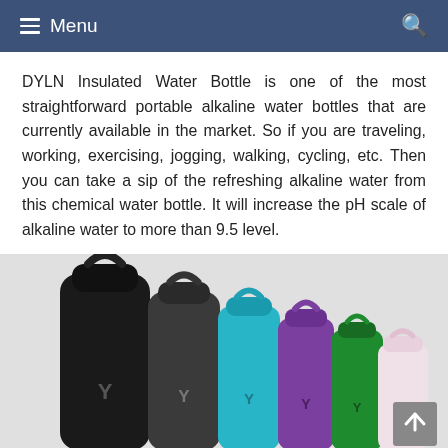≡ Menu
DYLN Insulated Water Bottle is one of the most straightforward portable alkaline water bottles that are currently available in the market. So if you are traveling, working, exercising, jogging, walking, cycling, etc. Then you can take a sip of the refreshing alkaline water from this chemical water bottle. It will increase the pH scale of alkaline water to more than 9.5 level.
[Figure (photo): A lineup of DYLN insulated water bottles in various colors: black (largest), dark gray, teal/cyan, purple, green, and white/pink, each with a handle loop on the cap, displaying the DYLN logo (Y figure) on the front.]